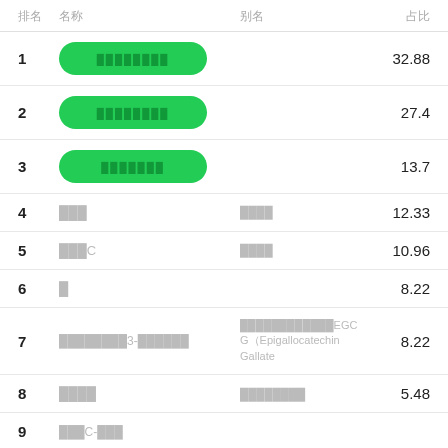| 排名 | 名称 | 别名 | 占比 |
| --- | --- | --- | --- |
| 1 | ████████ |  | 32.88 |
| 2 | ████████ |  | 27.4 |
| 3 | ███████ |  | 13.7 |
| 4 | ███ | ████ | 12.33 |
| 5 | ███C | ████ | 10.96 |
| 6 | █ |  | 8.22 |
| 7 | ████████3-██████ | ████████████EGC G（Epigallocatechin Gallate | 8.22 |
| 8 | ████ | ████████ | 5.48 |
| 9 | ███C-███ |  |  |